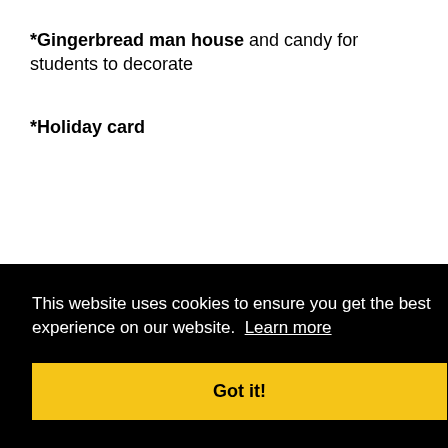*Gingerbread man house and candy for students to decorate
*Holiday card
This website uses cookies to ensure you get the best experience on our website. Learn more
Got it!
*44 Gingerbread subtraction word problem